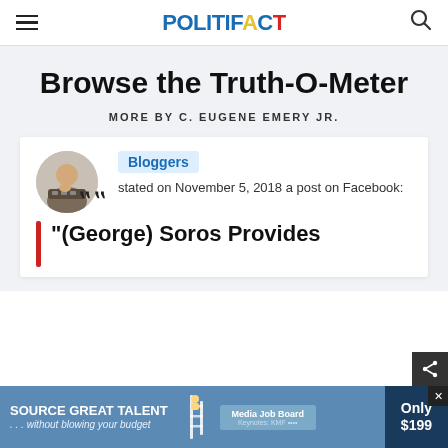POLITIFACT
Browse the Truth-O-Meter
MORE BY C. EUGENE EMERY JR.
Bloggers stated on November 5, 2018 a post on Facebook:
"(George) Soros Provides